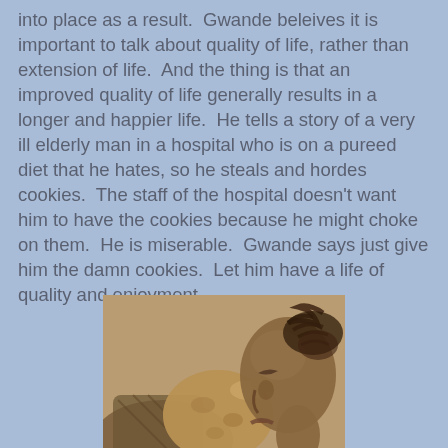into place as a result.  Gwande beleives it is important to talk about quality of life, rather than extension of life.  And the thing is that an improved quality of life generally results in a longer and happier life.  He tells a story of a very ill elderly man in a hospital who is on a pureed diet that he hates, so he steals and hordes cookies.  The staff of the hospital doesn't want him to have the cookies because he might choke on them.  He is miserable.  Gwande says just give him the damn cookies.  Let him have a life of quality and enjoyment.
[Figure (photo): Sepia-toned vintage photograph of a young person (side profile, braided hair) eating or biting into a large cookie or baked good]